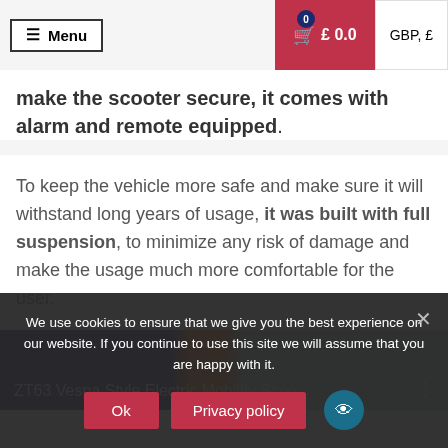Menu | £0.0 | GBP, £
make the scooter secure, it comes with alarm and remote equipped.
To keep the vehicle more safe and make sure it will withstand long years of usage, it was built with full suspension, to minimize any risk of damage and make the usage much more comfortable for the user.
[Figure (screenshot): Video thumbnail for ZT63 Vespa Style Electric Mobility Scoo... with blue, orange, and grey diagonal stripe background]
We use cookies to ensure that we give you the best experience on our website. If you continue to use this site we will assume that you are happy with it. Ok | Privacy policy